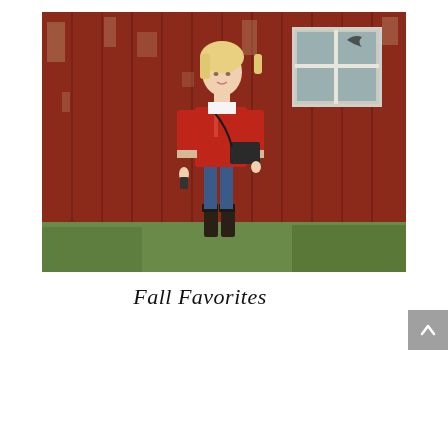[Figure (photo): A blonde woman wearing a red quilted jacket, blue jeans, black boots, and a dark crossbody bag, standing on a grass lawn in front of a weathered red barn with a white-framed window. The scene is an outdoor rural setting.]
Fall Favorites